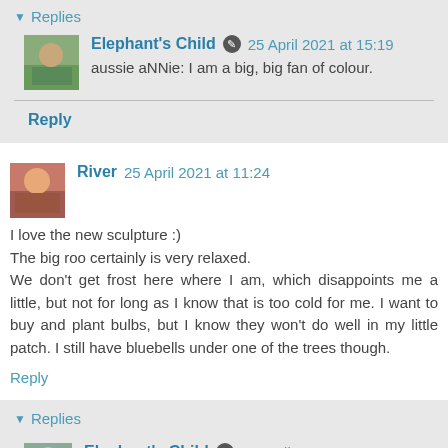▾ Replies
Elephant's Child 25 April 2021 at 15:19
aussie aNNie: I am a big, big fan of colour.
Reply
River 25 April 2021 at 11:24
I love the new sculpture :)
The big roo certainly is very relaxed.
We don't get frost here where I am, which disappoints me a little, but not for long as I know that is too cold for me. I want to buy and plant bulbs, but I know they won't do well in my little patch. I still have bluebells under one of the trees though.
Reply
▾ Replies
Elephant's Child 25 April 2021 at 15:21